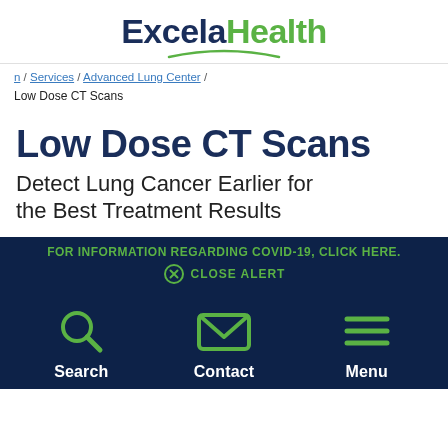[Figure (logo): Excela Health logo with navy 'Excela' and green 'Health' text, with a green swoosh accent underneath]
/ Services / Advanced Lung Center / Low Dose CT Scans
Low Dose CT Scans
Detect Lung Cancer Earlier for the Best Treatment Results
FOR INFORMATION REGARDING COVID-19, CLICK HERE.
CLOSE ALERT
[Figure (infographic): Three navigation icons on dark navy background: Search (magnifying glass), Contact (envelope), Menu (hamburger lines), each with white label text below]